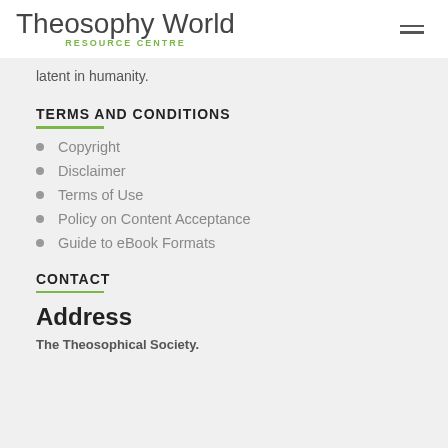Theosophy World RESOURCE CENTRE
latent in humanity.
TERMS AND CONDITIONS
Copyright
Disclaimer
Terms of Use
Policy on Content Acceptance
Guide to eBook Formats
CONTACT
Address
The Theosophical Society.